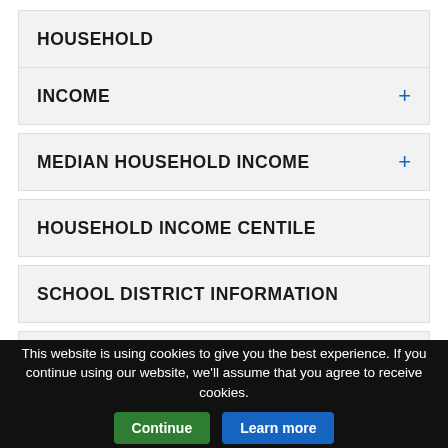HOUSEHOLD
INCOME +
MEDIAN HOUSEHOLD INCOME +
HOUSEHOLD INCOME CENTILE
SCHOOL DISTRICT INFORMATION
PUBLIC SCHOOLS
INFORMATION & MAPS +
This website is using cookies to give you the best experience. If you continue using our website, we'll assume that you agree to receive cookies.